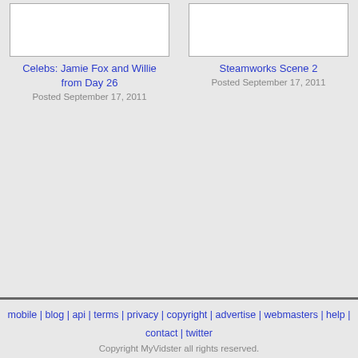[Figure (screenshot): Thumbnail image placeholder for video 1 (white box with border)]
Celebs: Jamie Fox and Willie from Day 26
Posted September 17, 2011
[Figure (screenshot): Thumbnail image placeholder for video 2 (white box with border, partially visible)]
Steamworks Scene 2
Posted September 17, 2011
mobile | blog | api | terms | privacy | copyright | advertise | webmasters | help | contact | twitter
Copyright MyVidster all rights reserved.